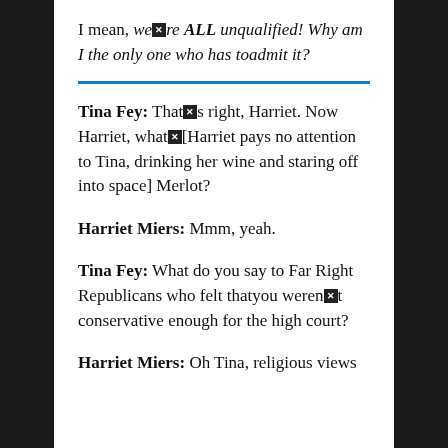I mean, we[x]re ALL unqualified! Why am I the only one who has toadmit it?
Tina Fey: That[x]s right, Harriet. Now Harriet, what[x][Harriet pays no attention to Tina, drinking her wine and staring off into space] Merlot?
Harriet Miers: Mmm, yeah.
Tina Fey: What do you say to Far Right Republicans who felt thatyou weren[x]t conservative enough for the high court?
Harriet Miers: Oh Tina, religious views